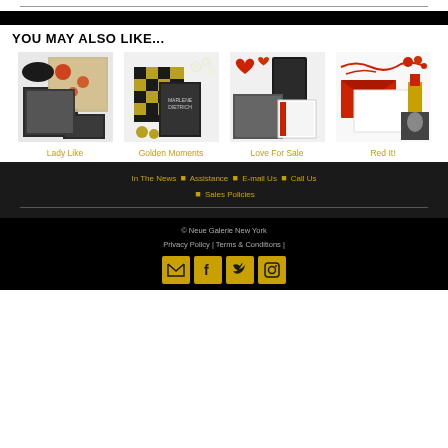YOU MAY ALSO LIKE...
[Figure (photo): Lady Like product collage showing fashion accessories, book, scarf]
Lady Like
[Figure (photo): Golden Moments product collage with checkered bag, Marlene Dietrich book, earrings]
Golden Moments
[Figure (photo): Love For Sale product collage with hearts, wallet, journal, black and white photo]
Love For Sale
[Figure (photo): Red It! product collage with red script, envelope, lipstick, notebook]
Red It!
In The News | Assistance | E-mail Us | Call Us | Sales Policies
© Neue Galerie New York
Privacy Policy | Terms & Conditions |